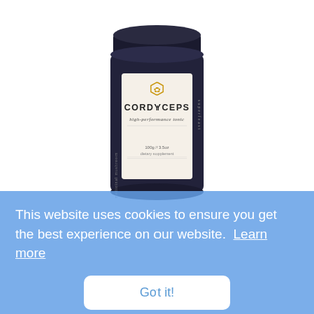[Figure (photo): A dark cylindrical jar with a black lid. The jar has a cream/white label featuring a gold hexagonal logo, the brand name 'superfeast' in vertical text, and the product name 'CORDYCEPS' in bold black letters, with subtitle 'high-performance tonic' in italic, and further details about weight and supplement type at the bottom.]
This website uses cookies to ensure you get the best experience on our website. Learn more
Got it!